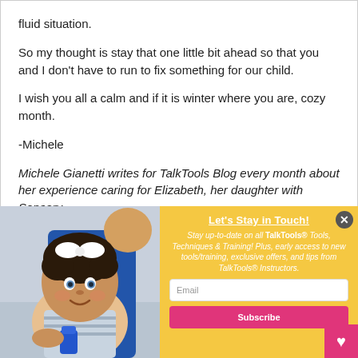fluid situation.
So my thought is stay that one little bit ahead so that you and I don't have to run to fix something for our child.
I wish you all a calm and if it is winter where you are, cozy month.
-Michele
Michele Gianetti writes for TalkTools Blog every month about her experience caring for Elizabeth, her daughter with Sensory
[Figure (photo): Baby/toddler with curly hair and white bow sitting in a blue high chair, holding a blue sippy cup, smiling at camera]
Let's Stay in Touch! Stay up-to-date on all TalkTools® Tools, Techniques & Training! Plus, early access to new tools/training, exclusive offers, and tips from TalkTools® Instructors.
Email
Subscribe